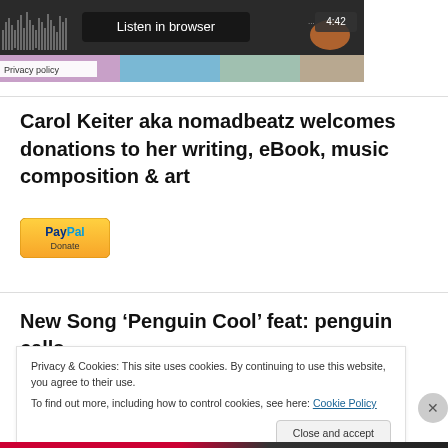[Figure (screenshot): Audio player bar with waveform background, 'Listen in browser' button, time display 4:42, and 'Privacy policy' label overlay]
Carol Keiter aka nomadbeatz welcomes donations to her writing, eBook, music composition & art
[Figure (logo): PayPal Donate button - yellow/orange gradient button with PayPal logo and 'Donate' text]
New Song ‘Penguin Cool’ feat: penguin calls
Privacy & Cookies: This site uses cookies. By continuing to use this website, you agree to their use.
To find out more, including how to control cookies, see here: Cookie Policy
Close and accept